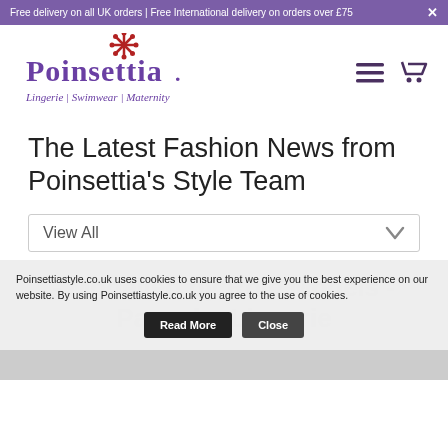Free delivery on all UK orders | Free International delivery on orders over £75
[Figure (logo): Poinsettia Lingerie | Swimwear | Maternity logo with purple text and red star]
The Latest Fashion News from Poinsettia's Style Team
View All
Modelled by Role Models - Panache Lingerie
Poinsettiastyle.co.uk uses cookies to ensure that we give you the best experience on our website. By using Poinsettiastyle.co.uk you agree to the use of cookies.